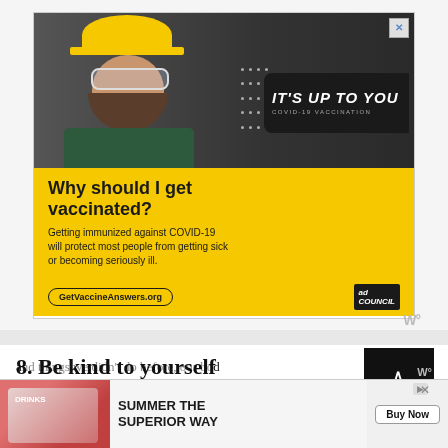[Figure (photo): Advertisement banner: Construction worker wearing yellow hard hat looking at camera, with text 'IT'S UP TO YOU COVID-19 VACCINATION' on dark background. Yellow section below with headline 'Why should I get vaccinated?' and text 'Getting immunized against COVID-19 will protect most people from getting sick or becoming seriously ill.' URL GetVaccineAnswers.org and Ad Council logo.]
8. Be kind to yourself
Forming a new routine or habit is not easy; our bodies
[Figure (photo): Bottom advertisement strip: 'SUMMER THE SUPERIOR WAY' with Buy Now button, partially overlapping page content.]